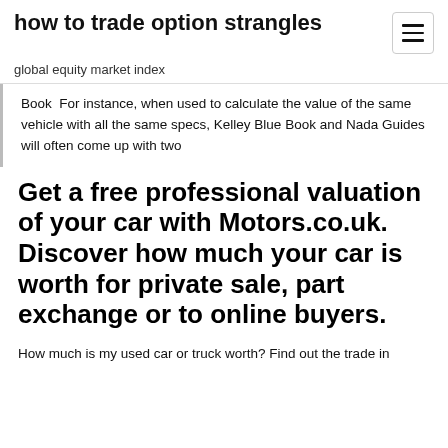how to trade option strangles
global equity market index
Book  For instance, when used to calculate the value of the same vehicle with all the same specs, Kelley Blue Book and Nada Guides will often come up with two
Get a free professional valuation of your car with Motors.co.uk. Discover how much your car is worth for private sale, part exchange or to online buyers.
How much is my used car or truck worth? Find out the trade in